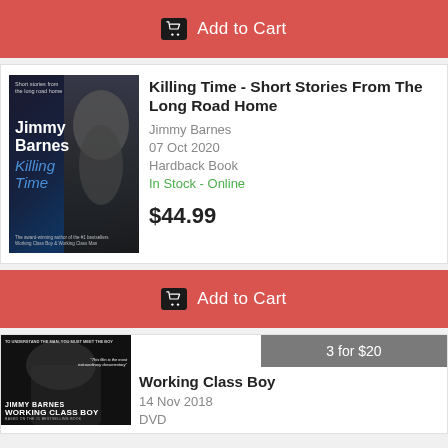Add to Cart
[Figure (photo): Book cover: Jimmy Barnes - Killing Time, showing author's face with dark background]
Killing Time - Short Stories From The Long Road Home
Jimmy Barnes
07 Oct 2020
Hardback Book
In Stock - Online
$44.99
Add to Cart
3 for $20
[Figure (photo): DVD cover: Working Class Boy by Jimmy Barnes, showing a hand reaching with dark background]
Working Class Boy
14 Nov 2018
DVD